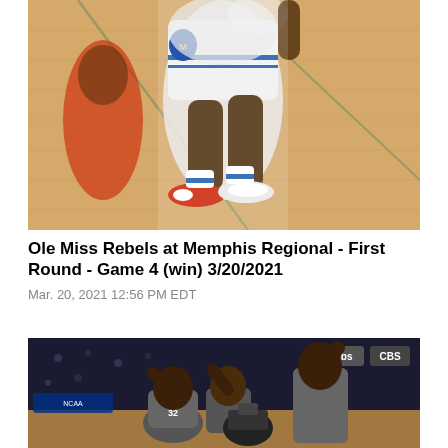[Figure (photo): Close-up action shot of a basketball player in white uniform with blue stripes dribbling on a hardwood court during an NCAA tournament game.]
Ole Miss Rebels at Memphis Regional - First Round - Game 4 (win) 3/20/2021
Mar. 20, 2021 12:56 PM EDT
[Figure (photo): Basketball players in dark uniforms celebrating on court during NCAA tournament game, with TBS and CBS logos visible in background.]